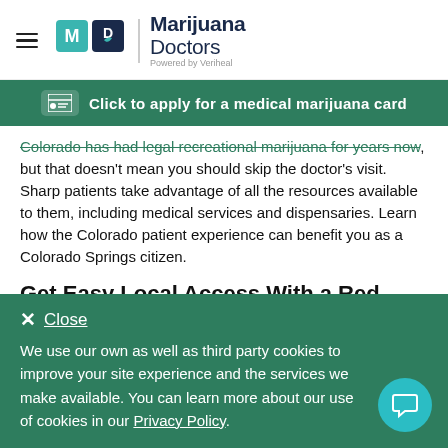Marijuana Doctors — Powered by Veriheal
Click to apply for a medical marijuana card
Colorado has had legal recreational marijuana for years now, but that doesn't mean you should skip the doctor's visit. Sharp patients take advantage of all the resources available to them, including medical services and dispensaries. Learn how the Colorado patient experience can benefit you as a Colorado Springs citizen.
Get Easy Local Access With a Red Card
Patients who don't have a medical marijuana card, also known as a
We use our own as well as third party cookies to improve your site experience and the services we make available. You can learn more about our use of cookies in our Privacy Policy.